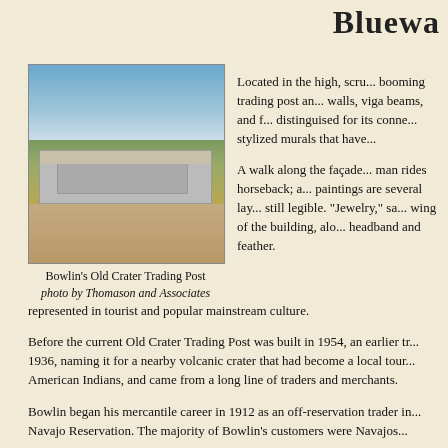Bluewa...
[Figure (photo): Bowlin's Old Crater Trading Post - a low, ruined adobe-style commercial building with faded signage, surrounded by scrubby trees, under a partly cloudy blue sky, with a dirt road in the foreground.]
Bowlin's Old Crater Trading Post
photo by Thomason and Associates
Located in the high, scru... booming trading post an... walls, viga beams, and f... distinguised for its conne... stylized murals that have...
A walk along the façade... man rides horseback; a... paintings are several lay... still legible. "Jewelry," sa... wing of the building, alo... headband and feather.
represented in tourist and popular mainstream culture.
Before the current Old Crater Trading Post was built in 1954, an earlier tr... 1936, naming it for a nearby volcanic crater that had become a local tour... American Indians, and came from a long line of traders and merchants.
Bowlin began his mercantile career in 1912 as an off-reservation trader in... Navajo Reservation. The majority of Bowlin's customers were Navajos...